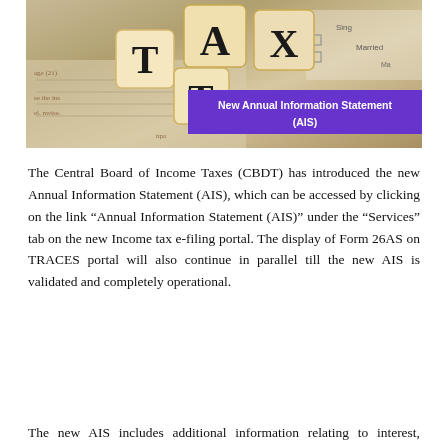[Figure (photo): Photo of wooden letter dice spelling TAX on a document background with filing status checkboxes visible. A purple banner overlay reads 'New Annual Information Statement (AIS)'.]
The Central Board of Income Taxes (CBDT) has introduced the new Annual Information Statement (AIS), which can be accessed by clicking on the link “Annual Information Statement (AIS)” under the “Services” tab on the new Income tax e-filing portal. The display of Form 26AS on TRACES portal will also continue in parallel till the new AIS is validated and completely operational.
The new AIS includes additional information relating to interest, dividend, securities